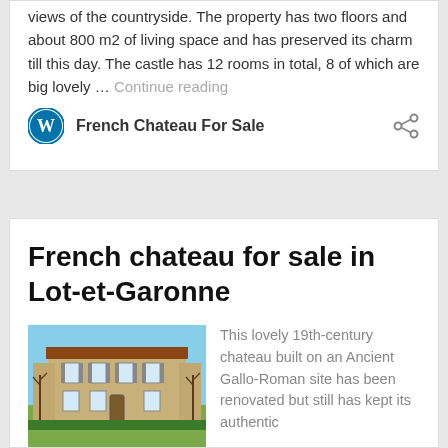views of the countryside. The property has two floors and about 800 m2 of living space and has preserved its charm till this day. The castle has 12 rooms in total, 8 of which are big lovely … Continue reading
French Chateau For Sale
French chateau for sale in Lot-et-Garonne
[Figure (photo): Photograph of a French chateau, a two-storey stone building with shuttered windows and a formal entrance, surrounded by green lawn and bare trees against a blue sky.]
This lovely 19th-century chateau built on an Ancient Gallo-Roman site has been renovated but still has kept its authentic